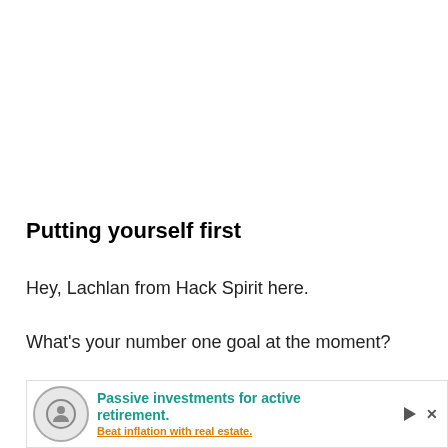Putting yourself first
Hey, Lachlan from Hack Spirit here.
What's your number one goal at the moment?
Is it to buy that car you've been saving up for?
To finally start that side hustle that'll hopefully help you qu…
[Figure (other): Advertisement banner for passive investments for active retirement. Beat inflation with real estate.]